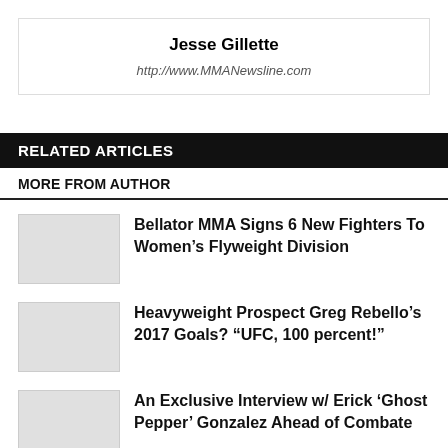Jesse Gillette
http://www.MMANewsline.com
RELATED ARTICLES
MORE FROM AUTHOR
Bellator MMA Signs 6 New Fighters To Women’s Flyweight Division
Heavyweight Prospect Greg Rebello’s 2017 Goals? “UFC, 100 percent!”
An Exclusive Interview w/ Erick ‘Ghost Pepper’ Gonzalez Ahead of Combate